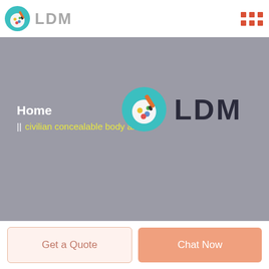[Figure (logo): LDM logo with teal painter's palette circle icon and grey LDM text in header]
[Figure (infographic): 3x2 grid of orange/red square dots in top right of header]
[Figure (infographic): Grey hero banner with Home breadcrumb text, LDM painter palette logo and bold LDM text, yellow text 'civilian concealable body armor']
Get a Quote
Chat Now